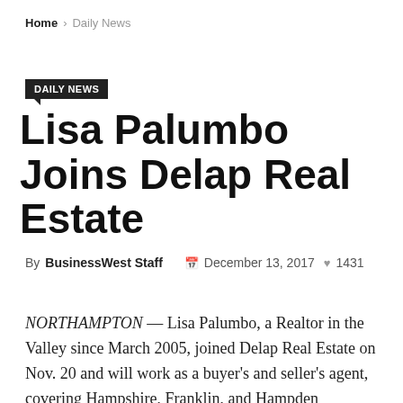Home > Daily News
DAILY NEWS
Lisa Palumbo Joins Delap Real Estate
By BusinessWest Staff  December 13, 2017  1431
NORTHAMPTON — Lisa Palumbo, a Realtor in the Valley since March 2005, joined Delap Real Estate on Nov. 20 and will work as a buyer's and seller's agent, covering Hampshire, Franklin, and Hampden counties.